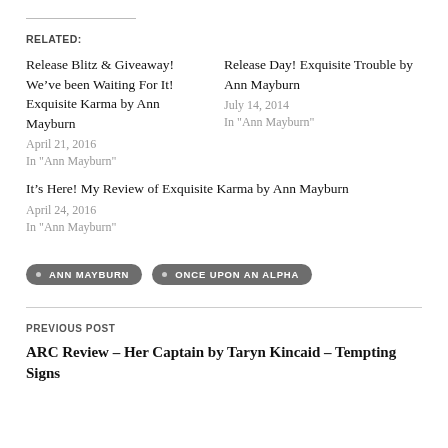RELATED:
Release Blitz & Giveaway! We’ve been Waiting For It! Exquisite Karma by Ann Mayburn
April 21, 2016
In "Ann Mayburn"
Release Day! Exquisite Trouble by Ann Mayburn
July 14, 2014
In "Ann Mayburn"
It’s Here! My Review of Exquisite Karma by Ann Mayburn
April 24, 2016
In "Ann Mayburn"
ANN MAYBURN
ONCE UPON AN ALPHA
PREVIOUS POST
ARC Review – Her Captain by Taryn Kincaid – Tempting Signs